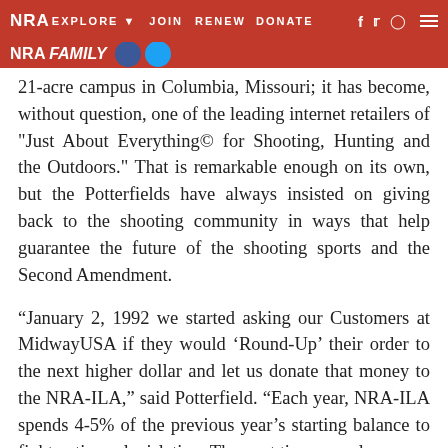NRA EXPLORE ▾   JOIN   RENEW   DONATE   f   𝕏   ◎   ≡
NRA FAMILY
21-acre campus in Columbia, Missouri; it has become, without question, one of the leading internet retailers of "Just About Everything© for Shooting, Hunting and the Outdoors." That is remarkable enough on its own, but the Potterfields have always insisted on giving back to the shooting community in ways that help guarantee the future of the shooting sports and the Second Amendment.
“January 2, 1992 we started asking our Customers at MidwayUSA if they would ‘Round-Up’ their order to the next higher dollar and let us donate that money to the NRA-ILA,” said Potterfield. “Each year, NRA-ILA spends 4-5% of the previous year’s starting balance to fight anti-gun legislation. The next time you place